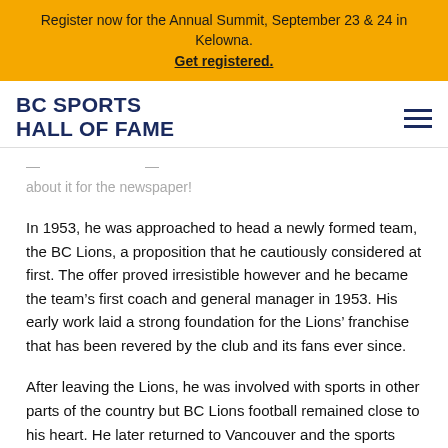Register now for the Annual Summit, September 23 & 24 in Kelowna. Get registered.
BC SPORTS HALL OF FAME
about it for the newspaper!
In 1953, he was approached to head a newly formed team, the BC Lions, a proposition that he cautiously considered at first. The offer proved irresistible however and he became the team's first coach and general manager in 1953. His early work laid a strong foundation for the Lions' franchise that has been revered by the club and its fans ever since.
After leaving the Lions, he was involved with sports in other parts of the country but BC Lions football remained close to his heart. He later returned to Vancouver and the sports journalism beat, working behind the sports desk of